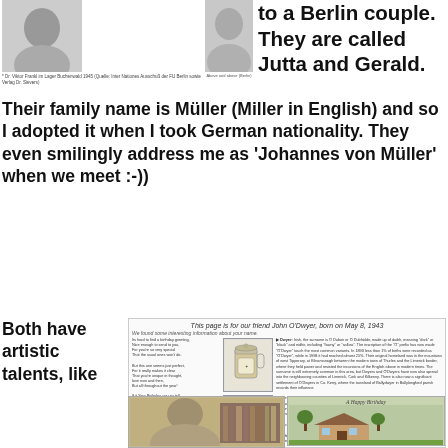[Figure (photo): Black and white photo of a person (top left)]
[Figure (photo): Black and white photo of a young boy (top right)]
* Dr. Viktor Frankl im Lager Buchenwald 1945 (Quelle: Inter Nationes Ausschuß der FU Berlin sowie Verlag Dr. Sievers)
to a Berlin couple. They are called Jutta and Gerald. Their family name is Müller (Miller in English) and so I adopted it when I took German nationality. They even smilingly address me as 'Johannes von Müller' when we meet :-))
Both have artistic talents, like
This page is for our friend John O'Dwyer, born on May 8, 1943
We found some interesting information about your name.
[Figure (photo): Illustrated beer stein with coat of arms]
[Figure (photo): Small portrait photo]
Dwyer: Irish, the surname is O Duboir or O Dubhiddir, made up of duibh, meaning 'dark' or 'black' and eidhir, including 'fawny' or 'sallow'. The inscription of the 'O' prefix has now made 'O'Dwyer' touch the most common variants. In 1890 less than 1% of births were recorded as 'O'Dwyer', while in 1998 it had reached almost 25%. Their original homeland was in the mountains of west Tipperary, at Kilnamanagh between the modern town of Thurles and the Limerick border, where they held power and resisted the incursions of the English above in modern times. The surname is still extremely common in this area, but Dwyers and O'Dwyers have now also spread into the neighbouring counties of Limerick, Cork and Kilkenny. There is also now a significant settlement of O'Dwyers in Co. Kerry, where the townland of Ballydwyer in Ballylongford parish records their influence.
The book The O'Dwyers of Kilnamanagh (1933), the best history of the family, was written by Sir Michael O'Dwyer, acclaimed by the Indian civil service for many miles. He was held politically responsible for the massacre at Amritsar in 1919 and was assassinated in London by an Indian nationalist in 1940.
[Figure (photo): Photo of an older man with glasses in a library setting]
[Figure (illustration): Illustrated cottage with text 'A Happy Birthday']